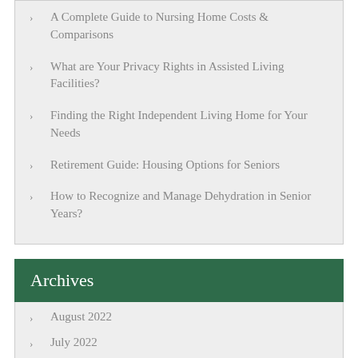A Complete Guide to Nursing Home Costs & Comparisons
What are Your Privacy Rights in Assisted Living Facilities?
Finding the Right Independent Living Home for Your Needs
Retirement Guide: Housing Options for Seniors
How to Recognize and Manage Dehydration in Senior Years?
Archives
August 2022
July 2022